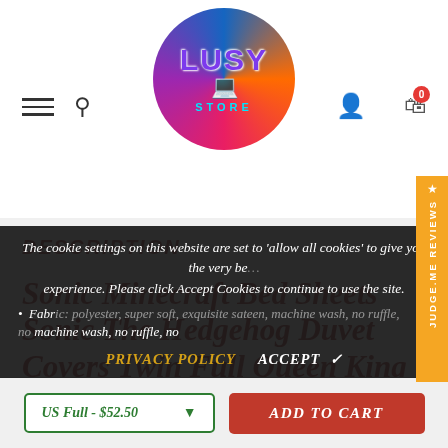[Figure (logo): LUSY STORE circular logo with purple/pink/orange gradient background, purple text 'LUSY', laptop icon, cyan 'STORE' text]
DESCRIPTION
Sonic Minecraft Bed Sheets Sonic The Hedgehog Duvet Covers Twin Full Queen King Colorful Bed Set
The cookie settings on this website are set to 'allow all cookies' to give you the very best experience. Please click Accept Cookies to continue to use the site.
Fabric: polyester, super soft, exquisite sateen, machine wash, no ruffle, no ...
PRIVACY POLICY   ACCEPT ✓
US Full - $52.50   ADD TO CART